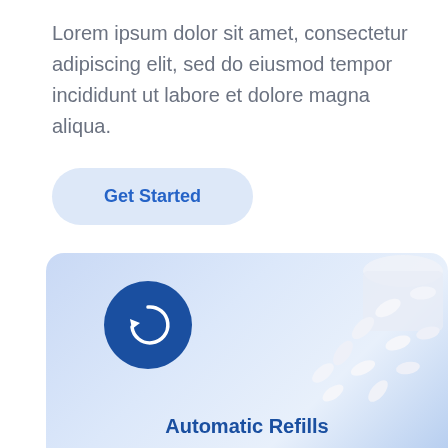Lorem ipsum dolor sit amet, consectetur adipiscing elit, sed do eiusmod tempor incididunt ut labore et dolore magna aliqua.
Get Started
[Figure (illustration): Blue card section with a dark blue circular refresh/reload icon and scattered white pills on a light blue gradient background. Partially visible text at the bottom reads 'Automatic Refills'.]